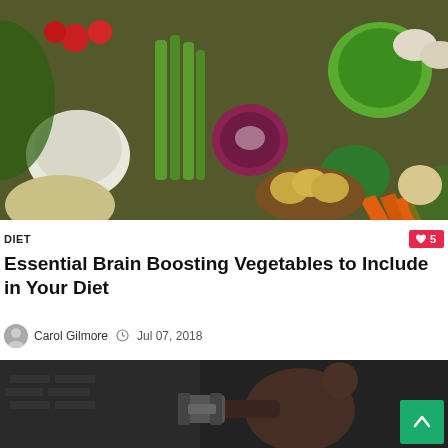[Figure (photo): Overhead flat-lay photo of assorted fresh vegetables including cauliflower, celery, radicchio, broccoli, carrots, cabbage, potatoes, mushrooms, and other vegetables on a wooden surface]
DIET
♡ 5
Essential Brain Boosting Vegetables to Include in Your Diet
Carol Gilmore  Jul 07, 2018
[Figure (photo): Black and white photo of a muscular man lifting dumbbells in a gym setting]